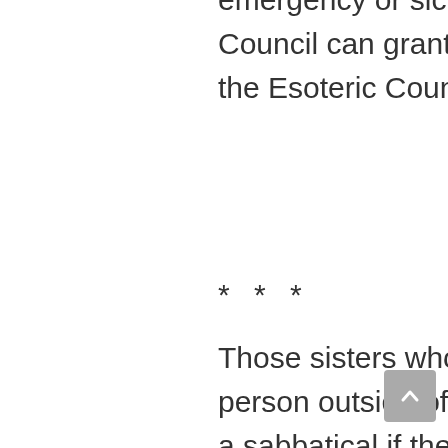emergency or sickness, the Apostle— ship Council can grant leave without approval of the Esoteric Council.
* * *
Those sisters who become pregnant, with a person outside of the Order, will be placed on a sabbatical if they are under Second Vows. If they are First Vowed or under Novitiate Vows, they will be removed from the Order and their vows will be broken.
If a sister becomes pregnant by a